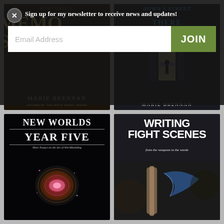[Figure (screenshot): Newsletter signup overlay with X close button, 'Sign up for my newsletter to receive news and updates!' text, Email Address input field, and green JOIN button]
[Figure (photo): Book cover: Historica Memor... SIBLE... by Marie Brennan, Author of the Onyx Court Series, dark textured background with gold lettering]
[Figure (photo): Book cover: Down a Street... There by Marie Brennan, dark architectural scene with a silhouetted figure with wings standing in a lit doorway]
[Figure (photo): Book cover: New Worlds Year Five - More Essays on the Art of Worldbuilding, black background with glowing cosmic orb]
[Figure (photo): Book cover: Writing Fight Scenes - from the weapons to the words, dark background with sword/quill imagery]